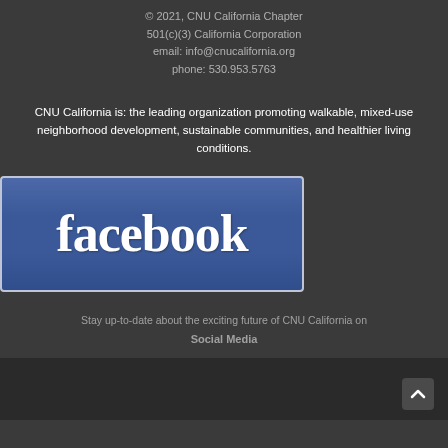© 2021, CNU California Chapter
501(c)(3) California Corporation
email: info@cnucalifornia.org
phone: 530.953.5763
CNU California is: the leading organization promoting walkable, mixed-use neighborhood development, sustainable communities, and healthier living conditions.
[Figure (logo): Facebook logo — white 'facebook' text on blue rectangular background with border]
Stay up-to-date about the exciting future of CNU California on Social Media